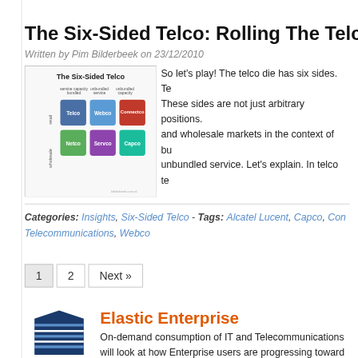The Six-Sided Telco: Rolling The Telco Dice
Written by Pim Bilderbeek on 23/12/2010
[Figure (infographic): The Six-Sided Telco diagram showing a 2x3 grid of colored boxes labeled Telco, Webco, Connectco (top row, blue/teal/red), Netco, Servco, Capco (bottom row, green/purple/cyan), with axes labeled 'retail' and 'wholesale' and column headers 'service capacity bundled', 'unbundled service', 'unbundled capacity']
So let's play! The telco die has six sides. These sides are not just arbitrary positions. and wholesale markets in the context of bu unbundled service. Let's explain. In telco te
Categories: Insights, Six-Sided Telco - Tags: Alcatel Lucent, Capco, Con Telecommunications, Webco
1  2  Next »
Elastic Enterprise
On-demand consumption of IT and Telecommunications will look at how Enterprise users are progressing towards